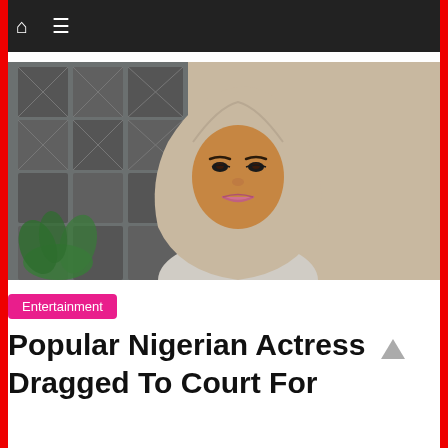Navigation bar with home and menu icons
[Figure (photo): A Nigerian woman wearing a beige/taupe hijab and matching outfit, smiling at the camera. Background shows a decorative geometric wall panel and a plant.]
Entertainment
Popular Nigerian Actress Dragged To Court For